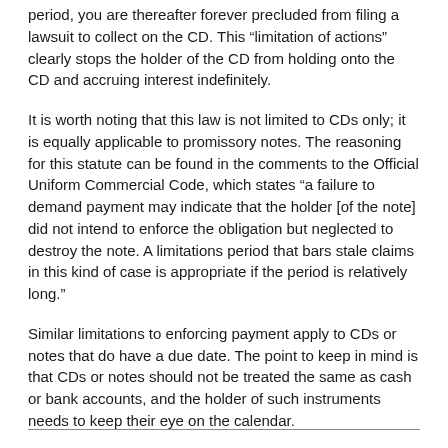period, you are thereafter forever precluded from filing a lawsuit to collect on the CD. This “limitation of actions” clearly stops the holder of the CD from holding onto the CD and accruing interest indefinitely.
It is worth noting that this law is not limited to CDs only; it is equally applicable to promissory notes. The reasoning for this statute can be found in the comments to the Official Uniform Commercial Code, which states “a failure to demand payment may indicate that the holder [of the note] did not intend to enforce the obligation but neglected to destroy the note. A limitations period that bars stale claims in this kind of case is appropriate if the period is relatively long.”
Similar limitations to enforcing payment apply to CDs or notes that do have a due date. The point to keep in mind is that CDs or notes should not be treated the same as cash or bank accounts, and the holder of such instruments needs to keep their eye on the calendar.